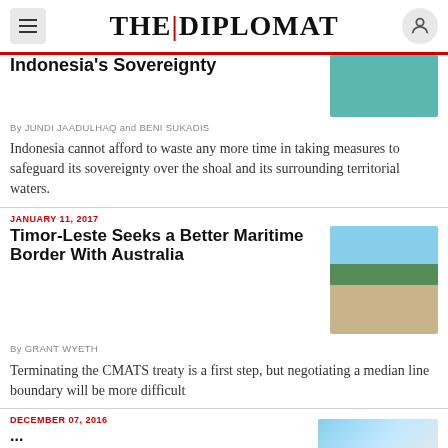THE | DIPLOMAT
Indonesia's Sovereignty
By JUNDI JAADULHAQ and BENI SUKADIS
Indonesia cannot afford to waste any more time in taking measures to safeguard its sovereignty over the shoal and its surrounding territorial waters.
JANUARY 11, 2017
Timor-Leste Seeks a Better Maritime Border With Australia
By GRANT WYETH
Terminating the CMATS treaty is a first step, but negotiating a median line boundary will be more difficult
DECEMBER 07, 2016